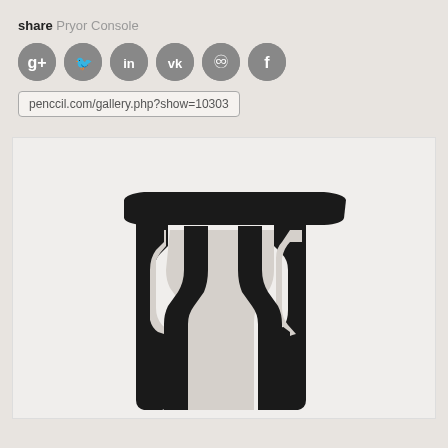share Pryor Console
[Figure (illustration): Six circular social media share icons: Google+, Twitter, LinkedIn, VK, Weibo, Facebook — all in grey]
penccil.com/gallery.php?show=10303
[Figure (photo): A black sculptural console table with curved, figure-like legs, photographed against a white background]